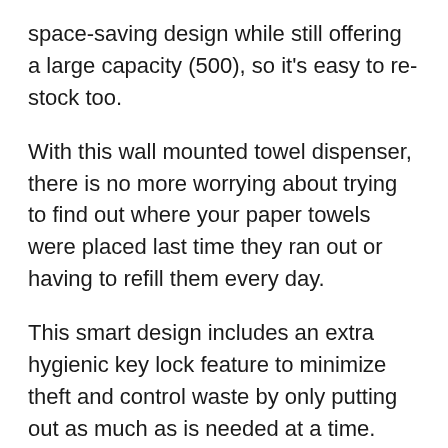space-saving design while still offering a large capacity (500), so it's easy to re-stock too.
With this wall mounted towel dispenser, there is no more worrying about trying to find out where your paper towels were placed last time they ran out or having to refill them every day.
This smart design includes an extra hygienic key lock feature to minimize theft and control waste by only putting out as much as is needed at a time.
With a smoke, translucent cover, and lock design, this multi-purpose commercial paper towel dispenser guarantees hygienic results while maintaining cleanliness and efficiency in its